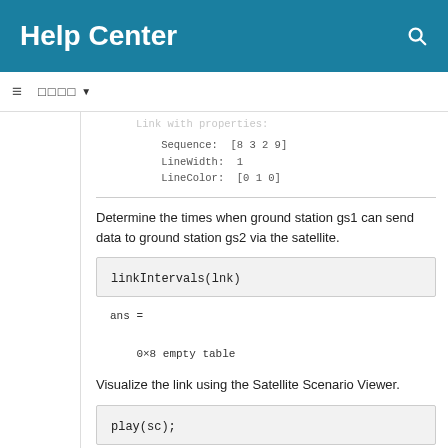Help Center
Link with properties:
    Sequence:  [8 3 2 9]
    LineWidth:  1
    LineColor:  [0 1 0]
Determine the times when ground station gs1 can send data to ground station gs2 via the satellite.
linkIntervals(lnk)
ans =

    0×8 empty table
Visualize the link using the Satellite Scenario Viewer.
play(sc);